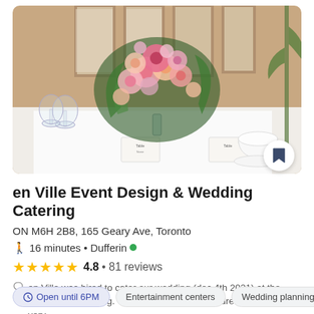[Figure (photo): Photo of a wedding reception table with a large floral centerpiece featuring pink, peach, coral and white flowers with greenery. Wine glasses, place cards, and a white teacup and saucer are visible on a white tablecloth. Warm, bright interior setting.]
en Ville Event Design & Wedding Catering
ON M6H 2B8, 165 Geary Ave, Toronto
16 minutes • Dufferin
4.8 • 81 reviews
en Ville was hired to cater our wedding (dec 4th 2021) at the Burroughes building. We dealt directly with Andrew who was very...
Open until 6PM
Entertainment centers
Wedding planning
Cat